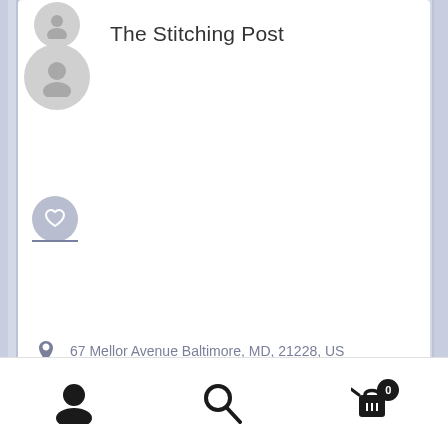The Stitching Post
67 Mellor Avenue Baltimore, MD, 21228, US
stpost@aol.com
http://www-the-stitching-post.com
Maryland
Uncategorized
21
0